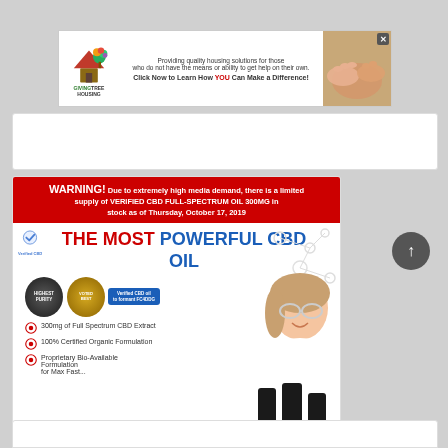[Figure (infographic): Giving Tree Housing advertisement banner with logo, text about providing quality housing solutions, and CTA button]
[Figure (infographic): WARNING notice about limited supply of VERIFIED CBD FULL-SPECTRUM OIL 300MG with CBD product marketing image showing scientist, badges, and bullet points]
[Figure (infographic): Partially visible bottom card/advertisement]